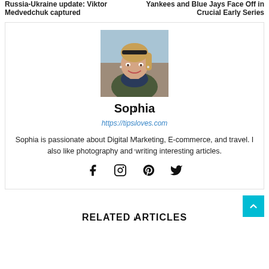Russia-Ukraine update: Viktor Medvedchuk captured
Yankees and Blue Jays Face Off in Crucial Early Series
[Figure (photo): Author profile photo of Sophia, a young woman with blonde hair and sunglasses on her head, smiling, outdoors]
Sophia
https://tipsloves.com
Sophia is passionate about Digital Marketing, E-commerce, and travel. I also like photography and writing interesting articles.
[Figure (infographic): Social media icons: Facebook, Instagram, Pinterest, Twitter]
RELATED ARTICLES